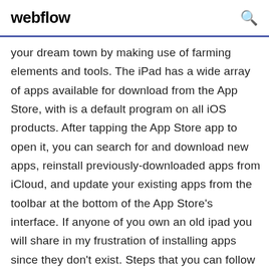webflow
your dream town by making use of farming elements and tools. The iPad has a wide array of apps available for download from the App Store, with is a default program on all iOS products. After tapping the App Store app to open it, you can search for and download new apps, reinstall previously-downloaded apps from iCloud, and update your existing apps from the toolbar at the bottom of the App Store's interface. If anyone of you own an old ipad you will share in my frustration of installing apps since they don't exist. Steps that you can follow if you can't download or update apps in your iPhone or How to Get Back Deleted Apps